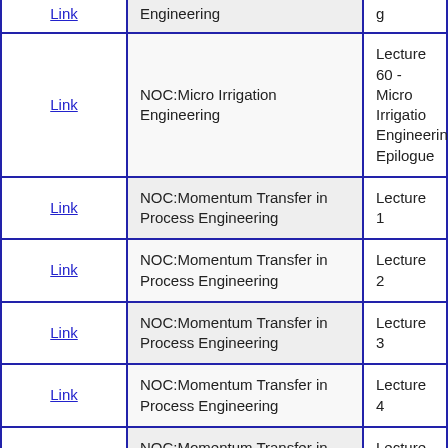| Link | Course | Lecture |
| --- | --- | --- |
| Link | Engineering | g |
| Link | NOC:Micro Irrigation Engineering | Lecture 60 - Micro Irrigation Engineering: Epilogue |
| Link | NOC:Momentum Transfer in Process Engineering | Lecture 1 |
| Link | NOC:Momentum Transfer in Process Engineering | Lecture 2 |
| Link | NOC:Momentum Transfer in Process Engineering | Lecture 3 |
| Link | NOC:Momentum Transfer in Process Engineering | Lecture 4 |
| Link | NOC:Momentum Transfer in Process Engineering | Lecture 5 |
| Link | NOC:Mo... |  |